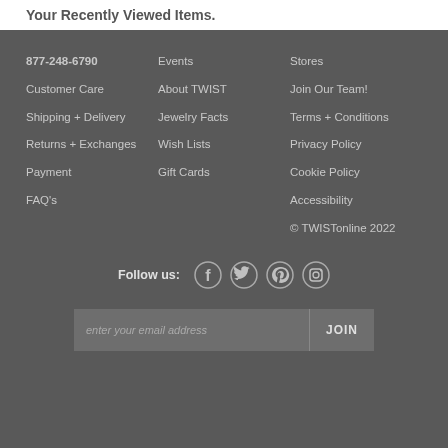Your Recently Viewed Items.
877-248-6790
Customer Care
Shipping + Delivery
Returns + Exchanges
Payment
FAQ's
Events
About TWIST
Jewelry Facts
Wish Lists
Gift Cards
Stores
Join Our Team!
Terms + Conditions
Privacy Policy
Cookie Policy
Accessibility
© TWISTonline 2022
Follow us:
enter your email address
JOIN